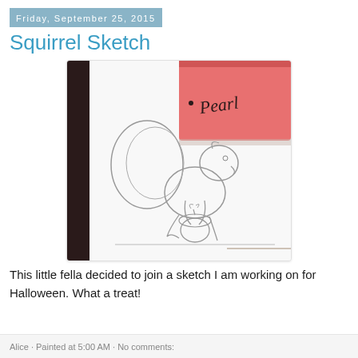Friday, September 25, 2015
Squirrel Sketch
[Figure (photo): A pencil sketch of a squirrel holding an acorn on white paper, with a pink Pearl eraser resting on the paper in the top-right corner of the image. The sketch shows a squirrel with a large tail, rounded body, and an acorn in its paws.]
This little fella decided to join a sketch I am working on for Halloween. What a treat!
Alice · Painted at 5:00 AM · No comments: